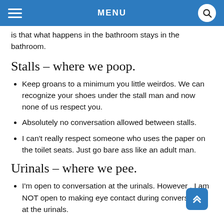MENU
is that what happens in the bathroom stays in the bathroom.
Stalls – where we poop.
Keep groans to a minimum you little weirdos. We can recognize your shoes under the stall man and now none of us respect you.
Absolutely no conversation allowed between stalls.
I can't really respect someone who uses the paper on the toilet seats. Just go bare ass like an adult man.
Urinals – where we pee.
I'm open to conversation at the urinals. However , I am NOT open to making eye contact during conversation at the urinals.